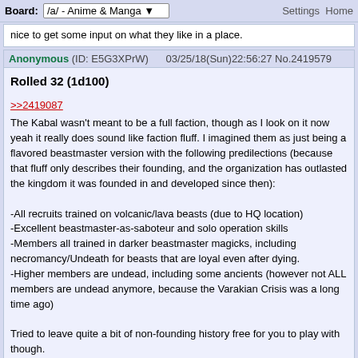Board: /a/ - Anime & Manga    Settings  Home
nice to get some input on what they like in a place.
Anonymous (ID: E5G3XPrW)   03/25/18(Sun)22:56:27 No.2419579
Rolled 32 (1d100)

>>2419087
The Kabal wasn't meant to be a full faction, though as I look on it now yeah it really does sound like faction fluff. I imagined them as just being a flavored beastmaster version with the following predilections (because that fluff only describes their founding, and the organization has outlasted the kingdom it was founded in and developed since then):

-All recruits trained on volcanic/lava beasts (due to HQ location)
-Excellent beastmaster-as-saboteur and solo operation skills
-Members all trained in darker beastmaster magicks, including necromancy/Undeath for beasts that are loyal even after dying.
-Higher members are undead, including some ancients (however not ALL members are undead anymore, because the Varakian Crisis was a long time ago)

Tried to leave quite a bit of non-founding history free for you to play with though.
Anonymous (ID: E5G3XPrW)   03/25/18(Sun)23:20:48 No.2419678